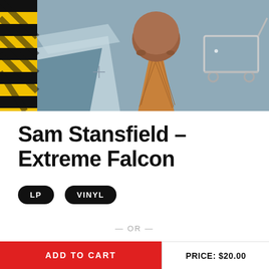[Figure (photo): Album cover art showing an ice cream cone and industrial/warehouse background with yellow and black stripes on the left edge]
Sam Stansfield - Extreme Falcon
LP
VINYL
— OR —
ADD TO CART
PRICE: $20.00